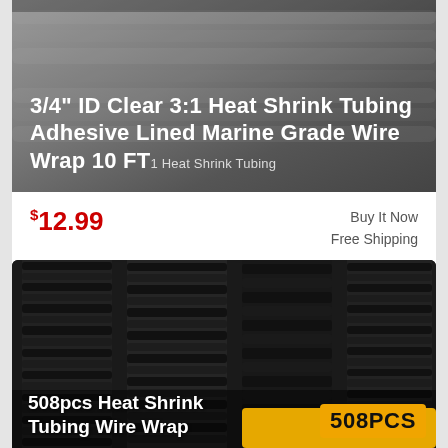[Figure (photo): Product photo of heat shrink tubing with gray gradient background]
3/4" ID Clear 3:1 Heat Shrink Tubing Adhesive Lined Marine Grade Wire Wrap 10 FT
1 Heat Shrink Tubing
$12.99
Buy It Now
Free Shipping
Condition: New
Location: Baldwin Park, United States
[Figure (photo): Photo of 508pcs heat shrink tubing wire wrap assortment in black, shown in organized stacks]
508pcs Heat Shrink Tubing Wire Wrap
508PCS